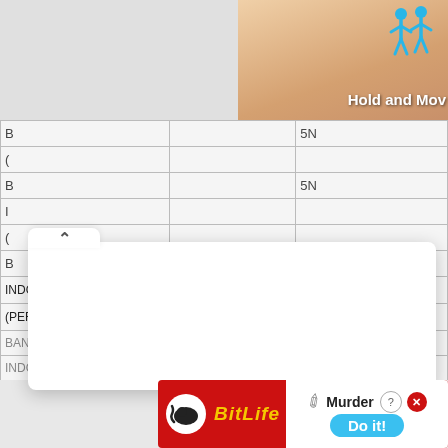[Figure (screenshot): Screenshot of a web page showing a table of bank data (BANK INDONESIA - PT (PERSERO) and BRANCH entries) with two overlapping advertisement overlays: a 'Hold and Move' game ad in the top right corner, a white dropdown/popup overlay in the center, and a BitLife 'Murder - Do it!' ad banner at the bottom.]